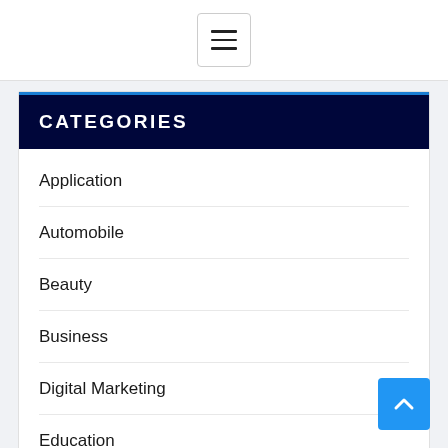[Figure (other): Hamburger menu button icon with three horizontal lines]
CATEGORIES
Application
Automobile
Beauty
Business
Digital Marketing
Education
Entertainment
Fashion